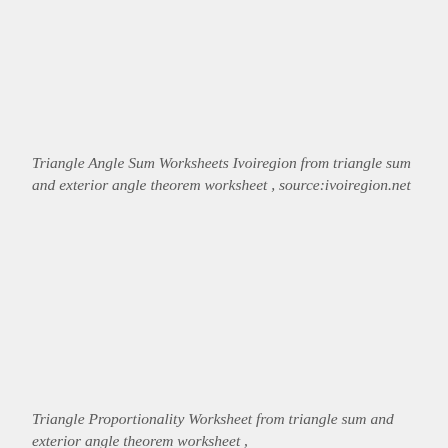Triangle Angle Sum Worksheets Ivoiregion from triangle sum and exterior angle theorem worksheet , source:ivoiregion.net
Triangle Proportionality Worksheet from triangle sum and exterior angle theorem worksheet ,